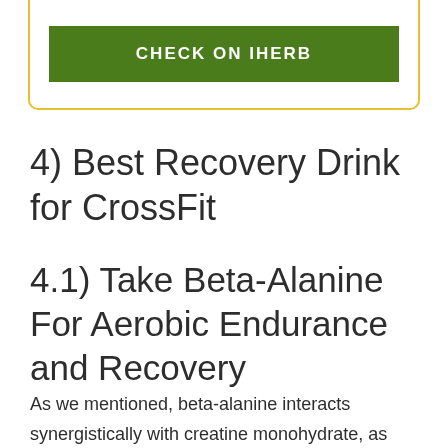[Figure (other): Green button with text CHECK ON IHERB inside a card with yellow/gold border]
4) Best Recovery Drink for CrossFit
4.1) Take Beta-Alanine For Aerobic Endurance and Recovery
As we mentioned, beta-alanine interacts synergistically with creatine monohydrate, as their combination also would contribute to the power-